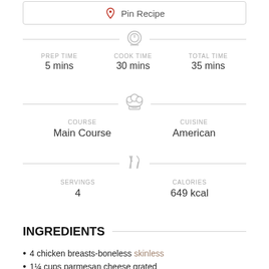Pin Recipe
PREP TIME 5 mins  COOK TIME 30 mins  TOTAL TIME 35 mins
COURSE Main Course   CUISINE American
SERVINGS 4   CALORIES 649 kcal
INGREDIENTS
4 chicken breasts-boneless skinless
1¼ cups parmesan cheese grated